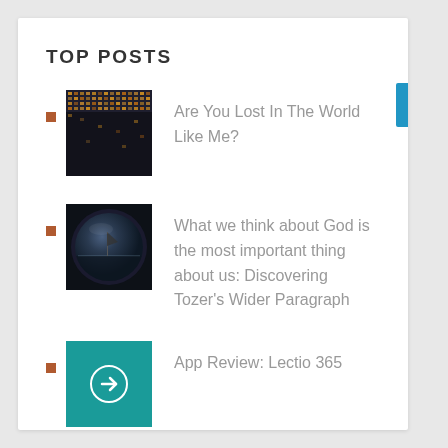TOP POSTS
Are You Lost In The World Like Me?
What we think about God is the most important thing about us: Discovering Tozer's Wider Paragraph
App Review: Lectio 365